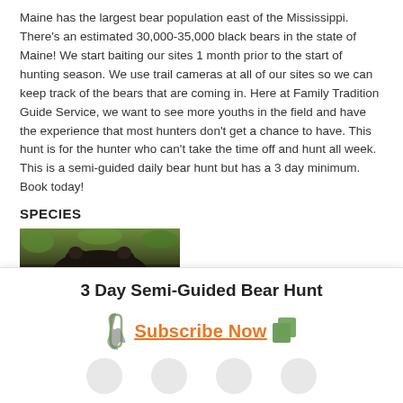Maine has the largest bear population east of the Mississippi. There's an estimated 30,000-35,000 black bears in the state of Maine! We start baiting our sites 1 month prior to the start of hunting season. We use trail cameras at all of our sites so we can keep track of the bears that are coming in. Here at Family Tradition Guide Service, we want to see more youths in the field and have the experience that most hunters don't get a chance to have. This hunt is for the hunter who can't take the time off and hunt all week. This is a semi-guided daily bear hunt but has a 3 day minimum. Book today!
SPECIES
[Figure (photo): Partial photo of a black bear, showing the top of the bear's head and back with green foliage background]
3 Day Semi-Guided Bear Hunt
Subscribe Now